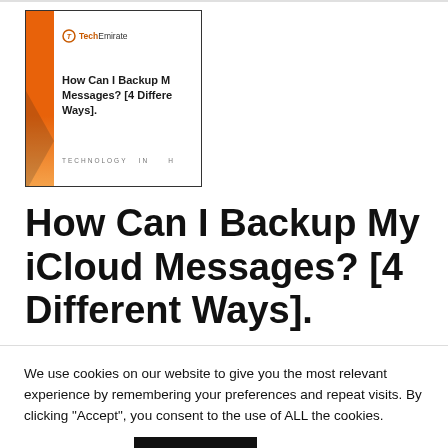[Figure (screenshot): Thumbnail screenshot of a blog article page showing the TechEmirate logo, article title 'How Can I Backup My iCloud Messages? [4 Different Ways].' and 'TECHNOLOGY IN H...' tag line, with an orange sidebar design.]
How Can I Backup My iCloud Messages? [4 Different Ways].
We use cookies on our website to give you the most relevant experience by remembering your preferences and repeat visits. By clicking “Accept”, you consent to the use of ALL the cookies.
Cookie settings  ACCEPT